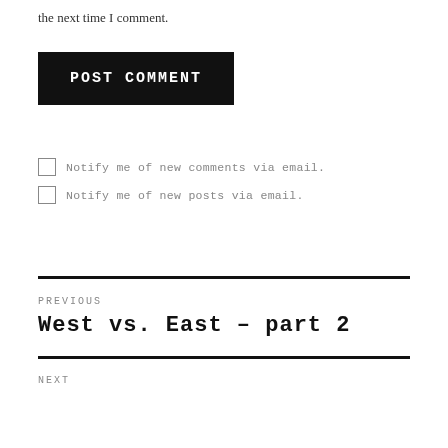the next time I comment.
POST COMMENT
Notify me of new comments via email.
Notify me of new posts via email.
PREVIOUS
West vs. East – part 2
NEXT